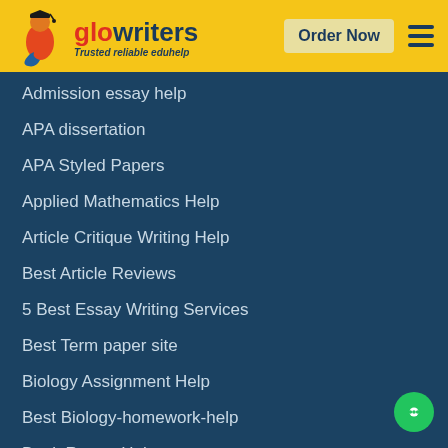[Figure (logo): GloWriters logo with mascot figure in red/blue, tagline 'Trusted reliable eduhelp']
Order Now
Admission essay help
APA dissertation
APA Styled Papers
Applied Mathematics Help
Article Critique Writing Help
Best Article Reviews
5 Best Essay Writing Services
Best Term paper site
Biology Assignment Help
Best Biology-homework-help
Book Report Help